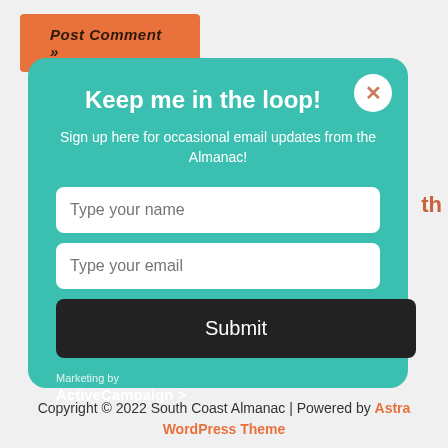[Figure (screenshot): Post Comment button partially visible behind modal, orange/coral colored button with italic text 'Post Comment »']
[Figure (screenshot): Email signup modal popup with teal/turquoise background. Contains title 'Keep me in the loop!', subtitle 'Sign up here for occasional email updates from the Almanac!', name input field, email input field, Submit button, close X button, and ActiveCampaign branding.]
Copyright © 2022 South Coast Almanac | Powered by Astra WordPress Theme